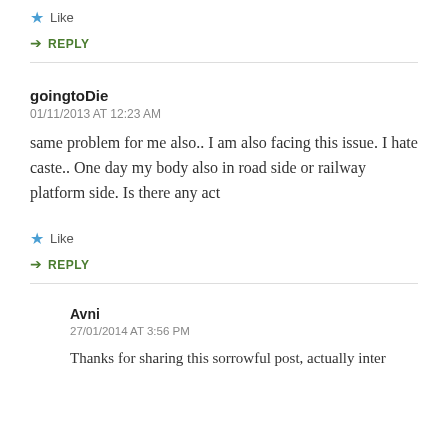Like
REPLY
goingtoDie
01/11/2013 AT 12:23 AM
same problem for me also.. I am also facing this issue. I hate caste.. One day my body also in road side or railway platform side. Is there any act
Like
REPLY
Avni
27/01/2014 AT 3:56 PM
Thanks for sharing this sorrowful post, actually inter